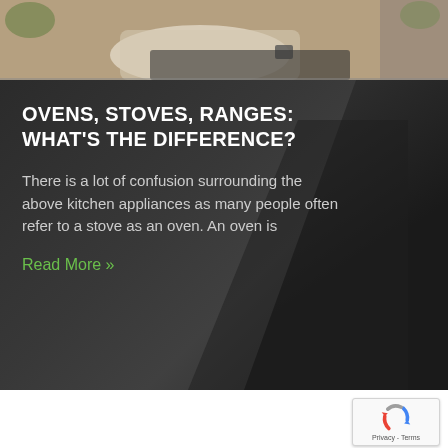[Figure (photo): Top portion of a photo showing a person at a market or kitchen setting, partially cropped]
OVENS, STOVES, RANGES: WHAT'S THE DIFFERENCE?
There is a lot of confusion surrounding the above kitchen appliances as many people often refer to a stove as an oven. An oven is
Read More »
[Figure (other): reCAPTCHA badge with Google logo, Privacy and Terms links]